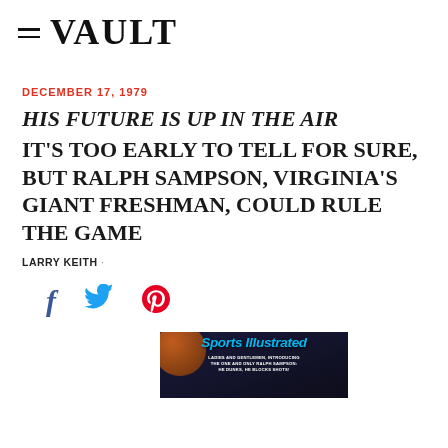VAULT
DECEMBER 17, 1979
HIS FUTURE IS UP IN THE AIR IT'S TOO EARLY TO TELL FOR SURE, BUT RALPH SAMPSON, VIRGINIA'S GIANT FRESHMAN, COULD RULE THE GAME
LARRY KEITH ·
[Figure (illustration): Social sharing icons: Facebook (f), Twitter (bird), Pinterest (P)]
[Figure (photo): Sports Illustrated magazine cover featuring Ralph Sampson, with text 'LADIES AND GENTLEMEN, INTRODUCING THE ONE AND ONLY RALPH SAMPSON: HE DUNKS, HE BLOCKS SHOTS!']